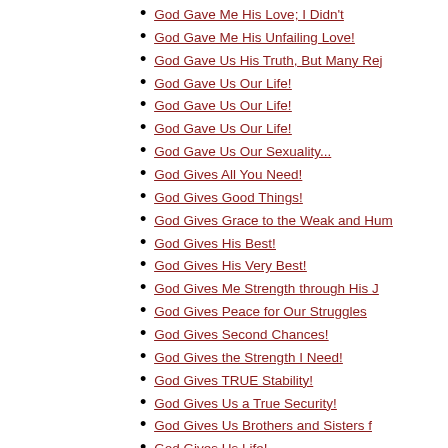God Gave Me His Love; I Didn't
God Gave Me His Unfailing Love!
God Gave Us His Truth, But Many Rej
God Gave Us Our Life!
God Gave Us Our Life!
God Gave Us Our Life!
God Gave Us Our Sexuality...
God Gives All You Need!
God Gives Good Things!
God Gives Grace to the Weak and Hum
God Gives His Best!
God Gives His Very Best!
God Gives Me Strength through His J
God Gives Peace for Our Struggles
God Gives Second Chances!
God Gives the Strength I Need!
God Gives TRUE Stability!
God Gives Us a True Security!
God Gives Us Brothers and Sisters f
God Gives Us Life!
God Gives Us Our Life!
God Has a Message...
God Has a Plan for Me and You!
God Has a Plan for YOU!
God Has A Purpose And Plan For All!
God Has Blessed Me!
God Has Blessed Me!
God Has Blssed Me... So I Can Bless
God Has Done So Much For Me!
God Has Given All We Need!